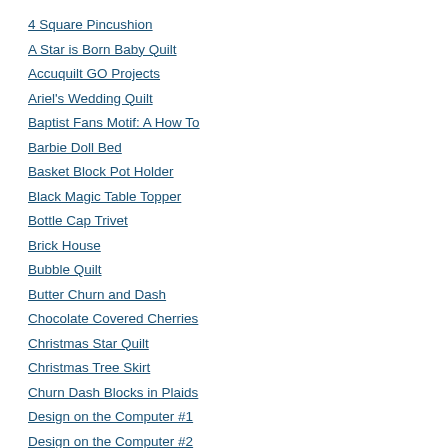4 Square Pincushion
A Star is Born Baby Quilt
Accuquilt GO Projects
Ariel's Wedding Quilt
Baptist Fans Motif: A How To
Barbie Doll Bed
Basket Block Pot Holder
Black Magic Table Topper
Bottle Cap Trivet
Brick House
Bubble Quilt
Butter Churn and Dash
Chocolate Covered Cherries
Christmas Star Quilt
Christmas Tree Skirt
Churn Dash Blocks in Plaids
Design on the Computer #1
Design on the Computer #2